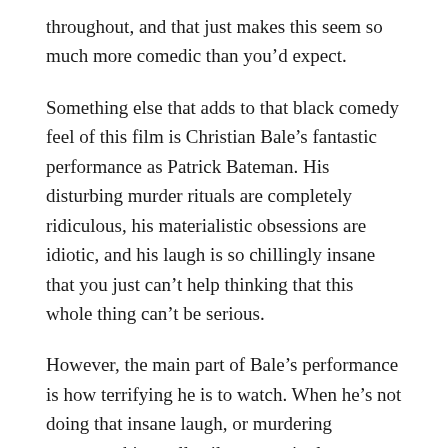throughout, and that just makes this seem so much more comedic than you'd expect.
Something else that adds to that black comedy feel of this film is Christian Bale's fantastic performance as Patrick Bateman. His disturbing murder rituals are completely ridiculous, his materialistic obsessions are idiotic, and his laugh is so chillingly insane that you just can't help thinking that this whole thing can't be serious.
However, the main part of Bale's performance is how terrifying he is to watch. When he's not doing that insane laugh, or murdering someone, his totally silent, emotionless character really gave me shivers every time he appeared in that way, and that was probably the main reason that this film was so horrifying and disturbing to watch.
Apart from that, I want to start to talk to it, The...